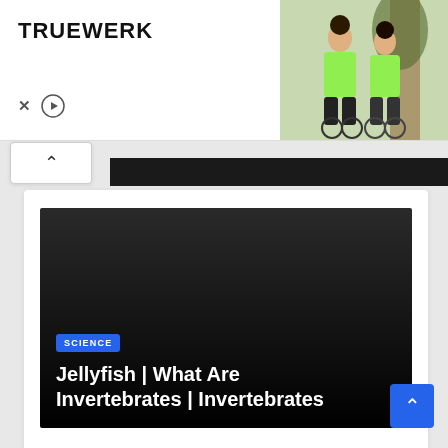[Figure (photo): TRUEWERK advertisement banner with logo on left and two cyclists wearing green jackets on right]
TRUEWERK
[Figure (screenshot): Video thumbnail with dark background showing SCIENCE badge and title text: Jellyfish | What Are Invertebrates | Invertebrates]
SCIENCE
Jellyfish | What Are Invertebrates | Invertebrates